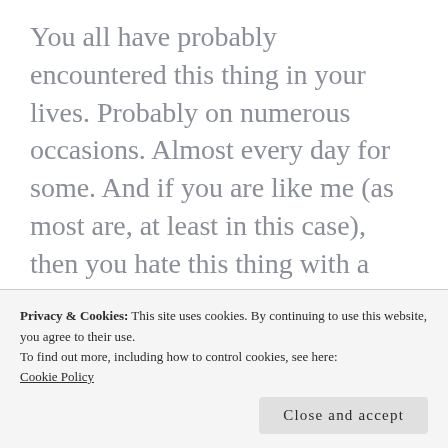You all have probably encountered this thing in your lives. Probably on numerous occasions. Almost every day for some. And if you are like me (as most are, at least in this case), then you hate this thing with a fiery passion.
Yes, you have guessed correctly. This thing that I am talking screaming about is the dreaded alarm clock
Privacy & Cookies: This site uses cookies. By continuing to use this website, you agree to their use.
To find out more, including how to control cookies, see here: Cookie Policy